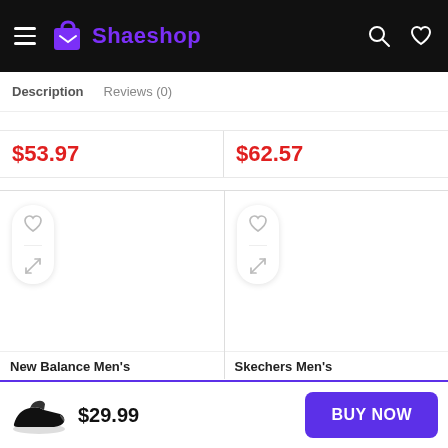[Figure (screenshot): Shaeshop e-commerce website header with hamburger menu, shopping bag logo, site name 'Shaeshop' in purple, search and heart icons on black background]
Description   Reviews (0)
$53.97
$62.57
[Figure (screenshot): Two product card sections with heart (wishlist) and compare icons in pill-shaped white buttons. Left card and right card both show icon groups. Product names partially visible: 'New Balance Men's' and 'Skechers Men's']
New Balance Men's
Skechers Men's
$29.99
BUY NOW